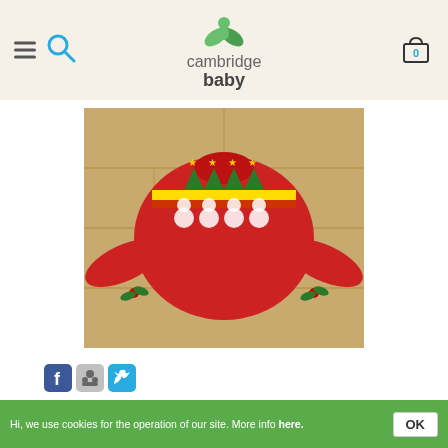cambridge baby — website header with hamburger menu, search, logo, and cart icon
[Figure (photo): Red children's Christmas sweater laid flat on wooden floor, decorated with snowmen, Christmas trees, and gold stars on the chest, and holly decorations on the cuffs]
[Figure (other): Social sharing icons: Facebook, Reddit/Digg, Twitter]
No Comments »
Hi, we use cookies for the operation of our site. More info here.
Wool, a mother's perspective